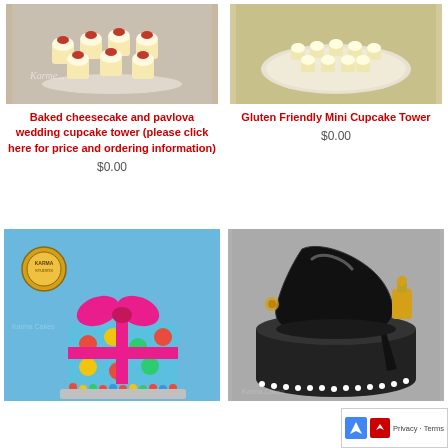[Figure (photo): Cupcake tower with strawberries on white stand, top-left product photo]
Baked cheesecake and pavlova wedding cupcake tower (please click here for price and ordering information)
$0.00
[Figure (photo): Gluten friendly mini cupcakes on a plate, top-right product photo]
Gluten Friendly Mini Cupcake Tower
$0.00
[Figure (photo): Colorful polka dot gift box cake with pink bow, bottom-left product photo]
[Figure (photo): Black and white high heel shoe cake with accessories, bottom-right product photo]